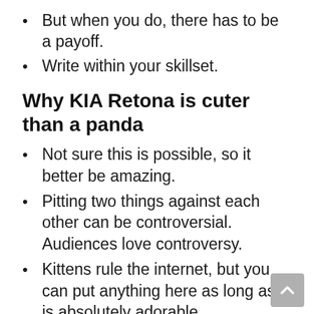But when you do, there has to be a payoff.
Write within your skillset.
Why KIA Retona is cuter than a panda
Not sure this is possible, so it better be amazing.
Pitting two things against each other can be controversial. Audiences love controversy.
Kittens rule the internet, but you can put anything here as long as it is absolutely adorable.